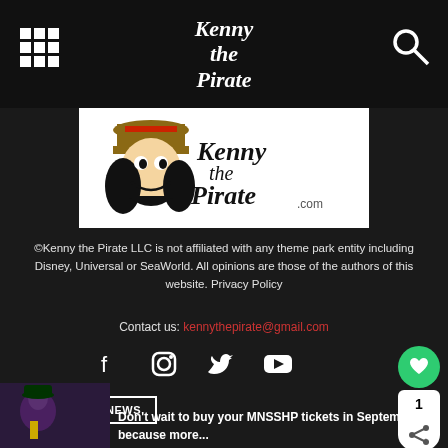Kenny the Pirate
[Figure (logo): Kenny the Pirate logo banner with cartoon Captain Hook face and text 'Kenny the Pirate.com' on white background]
©Kenny the Pirate LLC is not affiliated with any theme park entity including Disney, Universal or SeaWorld. All opinions are those of the authors of this website. Privacy Policy
Contact us: kennythepirate@gmail.com
[Figure (infographic): Social media icons row: Facebook, Instagram, Twitter, YouTube]
EVEN MORE NEWS
Don't wait to buy your MNSSHP tickets in September because more...